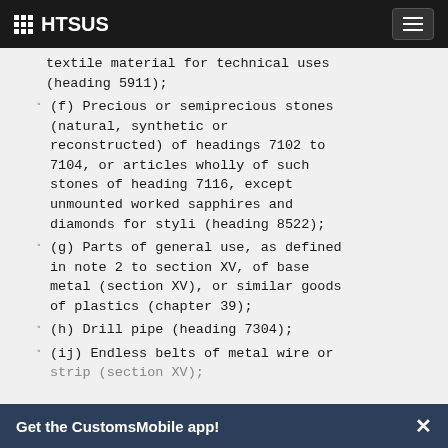HTSUS
textile material for technical uses (heading 5911);
(f) Precious or semiprecious stones (natural, synthetic or reconstructed) of headings 7102 to 7104, or articles wholly of such stones of heading 7116, except unmounted worked sapphires and diamonds for styli (heading 8522);
(g) Parts of general use, as defined in note 2 to section XV, of base metal (section XV), or similar goods of plastics (chapter 39);
(h) Drill pipe (heading 7304);
(ij) Endless belts of metal wire or strip (section XV);
Get the CustomsMobile app!